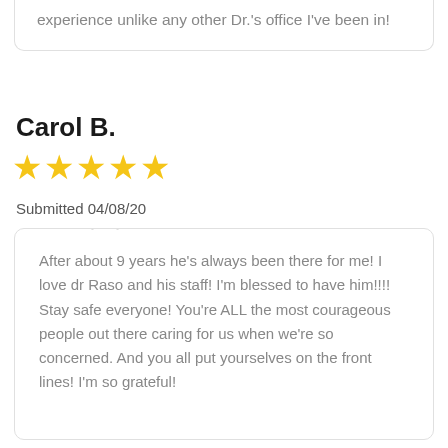experience unlike any other Dr.'s office I've been in!
Carol B.
★★★★★ (5 stars)
Submitted 04/08/20
After about 9 years he's always been there for me! I love dr Raso and his staff! I'm blessed to have him!!!! Stay safe everyone! You're ALL the most courageous people out there caring for us when we're so concerned. And you all put yourselves on the front lines! I'm so grateful!